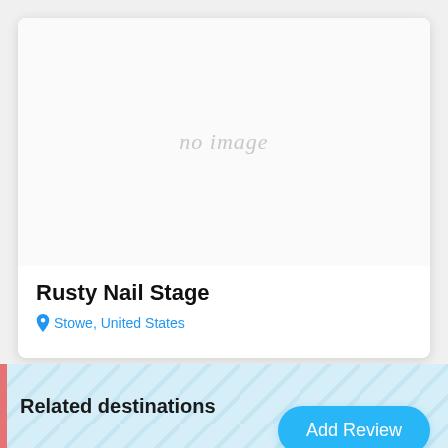[Figure (other): Venue card with no image placeholder showing 'no image' text in light gray italic]
Rusty Nail Stage
Stowe, United States
Related destinations
Add Review